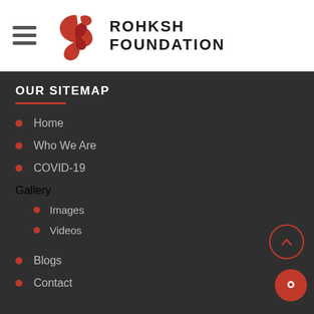[Figure (logo): Rohksh Foundation logo: red stylized R letter mark with company name in bold]
OUR SITEMAP
Home
Who We Are
COVID-19
Gallery
Images
Videos
Blogs
Contact